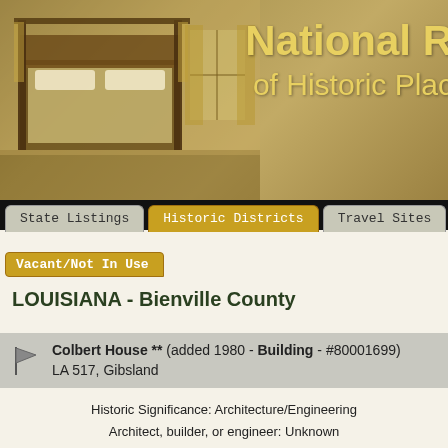[Figure (illustration): National Register of Historic Places banner with sepia-toned bedroom interior scene on left and gold text 'National Register of Historic Places' on right]
National Register of Historic Places
State Listings | Historic Districts | Travel Sites
Vacant/Not In Use
LOUISIANA - Bienville County
Colbert House ** (added 1980 - Building - #80001699)
LA 517, Gibsland
Historic Significance: Architecture/Engineering
Architect, builder, or engineer: Unknown
Architectural Style: Greek Revival
Area of Significance: Architecture